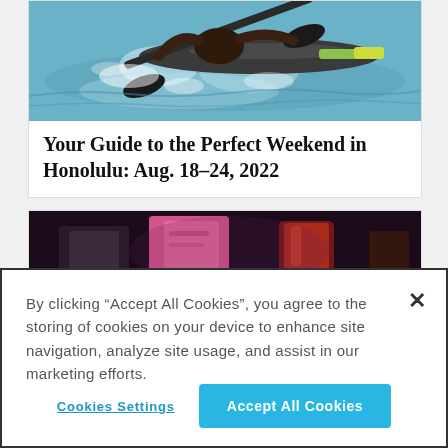[Figure (photo): A person kayaking/paddling through churning white water, viewed from above at an angle. Canoe/kayak visible with green and yellow accents.]
Your Guide to the Perfect Weekend in Honolulu: Aug. 18–24, 2022
[Figure (photo): Dark background image showing what appears to be drinks or food items including a pink/red colored beverage.]
By clicking “Accept All Cookies”, you agree to the storing of cookies on your device to enhance site navigation, analyze site usage, and assist in our marketing efforts.
Cookies Settings
Accept All Cookies